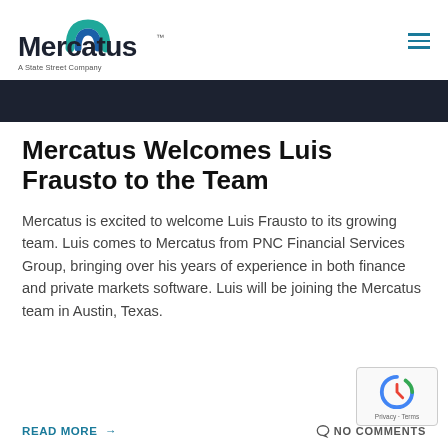Mercatus — A State Street Company
[Figure (illustration): Dark banner/hero image strip — dark navy/charcoal texture background]
Mercatus Welcomes Luis Frausto to the Team
Mercatus is excited to welcome Luis Frausto to its growing team. Luis comes to Mercatus from PNC Financial Services Group, bringing over his years of experience in both finance and private markets software. Luis will be joining the Mercatus team in Austin, Texas.
READ MORE → NO COMMENTS